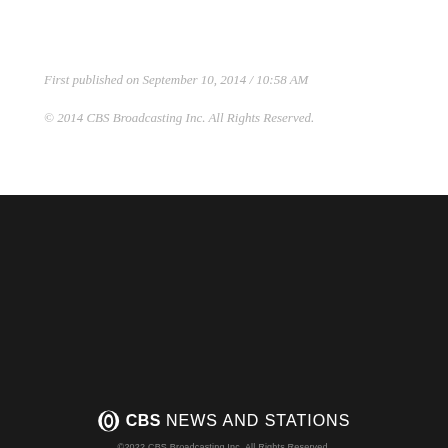First published on September 10, 2014 / 10:58 AM
© 2014 CBS Broadcasting Inc. All Rights Reserved.
[Figure (logo): CBS News and Stations logo with CBS eye icon]
©2022 CBS Broadcasting Inc. All Rights Reserved.
WBZ-TV
News
Sports
Weather
Contests
Program Guide
Terms of Use
Privacy Policy
Do Not Sell My Personal Information
Cookies Policy
Public File for WBZ-TV